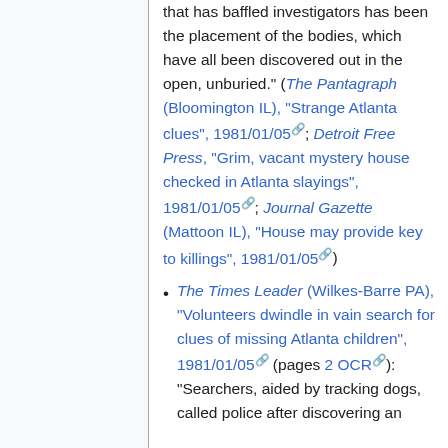that has baffled investigators has been the placement of the bodies, which have all been discovered out in the open, unburied." (The Pantagraph (Bloomington IL), "Strange Atlanta clues", 1981/01/05; Detroit Free Press, "Grim, vacant mystery house checked in Atlanta slayings", 1981/01/05; Journal Gazette (Mattoon IL), "House may provide key to killings", 1981/01/05)
The Times Leader (Wilkes-Barre PA), "Volunteers dwindle in vain search for clues of missing Atlanta children", 1981/01/05 (pages 2 OCR): "Searchers, aided by tracking dogs, called police after discovering an